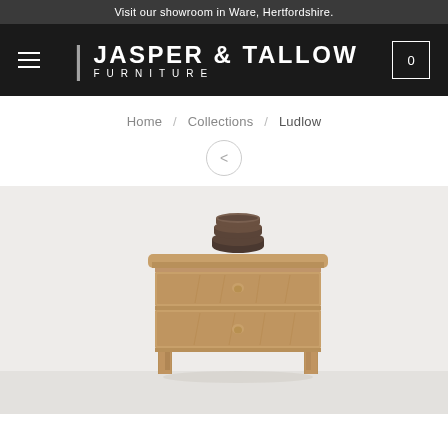Visit our showroom in Ware, Hertfordshire.
JASPER & TALLOW FURNITURE
Home / Collections / Ludlow
[Figure (photo): A wooden two-drawer bedside table with tapered legs and round wooden knobs, with stacked dark ceramic bowls on top, photographed against a light grey background.]